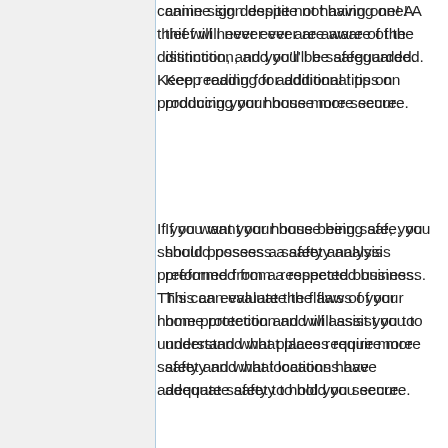canine sign despite not having one! A thief will never ever are aware of the distinction, and you'll be safeguarded. Keep reading for additional tips on producing your house more secure.
If you want your house being safe, you should possess a safety analysis preformed from a respected business. This can evaluate the flaws of your home protection and will assist you to understand what places require more safety and what locations have adequate safety to hold you secure.
Your car port should be safe. Burglars could quickly enter your storage area and island tactical accessibility your home. Utilizing a C-clamp around the car